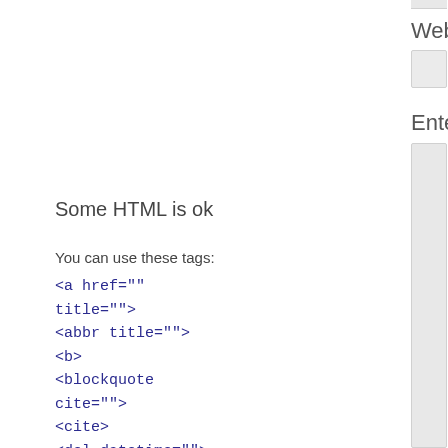Website
Enter comment
Some HTML is ok
You can use these tags:
<a href="" title=""> <abbr title=""> <b> <blockquote cite=""> <cite> <del datetime=""> <em> <i> <q cite="">